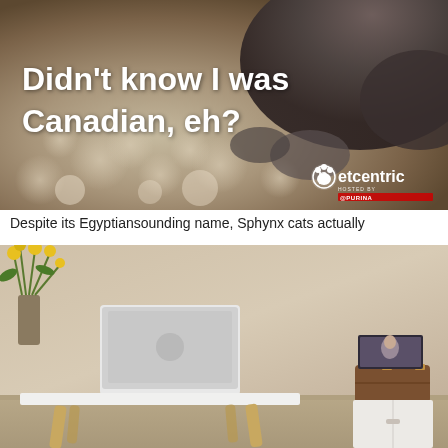[Figure (photo): Sphynx cat lying on a woolly/textured surface, with overlay text 'Didn't know I was Canadian, eh?' and the Petcentric logo in the bottom right corner of the image.]
Despite its Egyptiansounding name, Sphynx cats actually
[Figure (photo): Interior room scene with a white Scandinavian-style desk/table with wooden legs, a laptop on top, a vase with yellow flowers, and a small cabinet with a framed photo on it near the right side.]